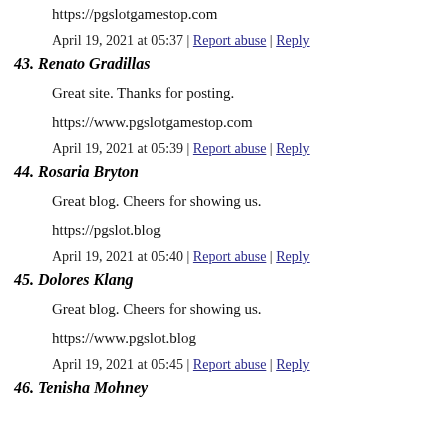https://pgslotgamestop.com
April 19, 2021 at 05:37 | Report abuse | Reply
43. Renato Gradillas
Great site. Thanks for posting.
https://www.pgslotgamestop.com
April 19, 2021 at 05:39 | Report abuse | Reply
44. Rosaria Bryton
Great blog. Cheers for showing us.
https://pgslot.blog
April 19, 2021 at 05:40 | Report abuse | Reply
45. Dolores Klang
Great blog. Cheers for showing us.
https://www.pgslot.blog
April 19, 2021 at 05:45 | Report abuse | Reply
46. Tenisha Mohney